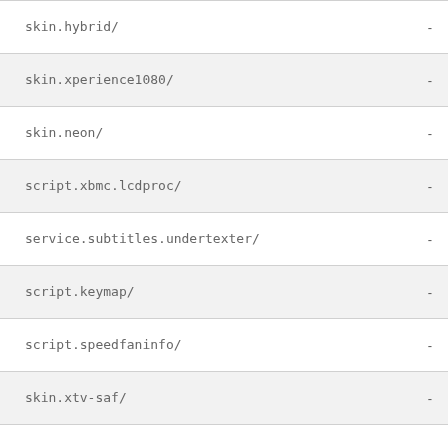| Name |  |
| --- | --- |
| skin.hybrid/ | - |
| skin.xperience1080/ | - |
| skin.neon/ | - |
| script.xbmc.lcdproc/ | - |
| service.subtitles.undertexter/ | - |
| script.keymap/ | - |
| script.speedfaninfo/ | - |
| skin.xtv-saf/ | - |